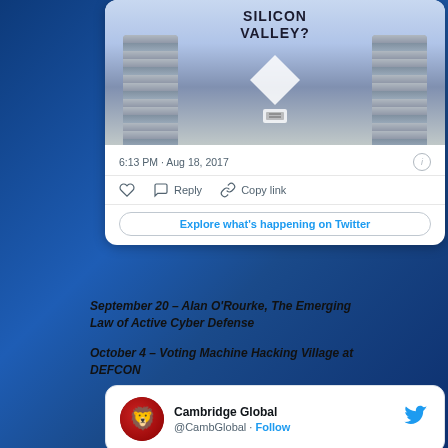[Figure (screenshot): Twitter/X embedded tweet card showing a chain image with text 'SILICON VALLEY?' and tweet timestamp 6:13 PM · Aug 18, 2017, with like, reply, copy link actions and Explore button]
September 20 – Alan O'Rourke, The Emerging Law of Active Cyber Defense
October 4 – Voting Machine Hacking Village at DEFCON
[Figure (screenshot): Twitter profile card for Cambridge Global @CambGlobal with Follow link and Twitter bird icon]